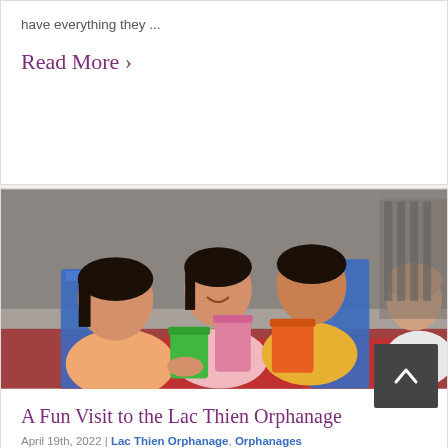have everything they ...
Read More ›
[Figure (photo): Children at the Lac Thien Orphanage holding colorful cups (green, pink, orange), sitting around a table with blue plastic chairs visible in the background, brick wall behind them.]
A Fun Visit to the Lac Thien Orphanage
April 19th, 2022 | Lac Thien Orphanage, Orphanages